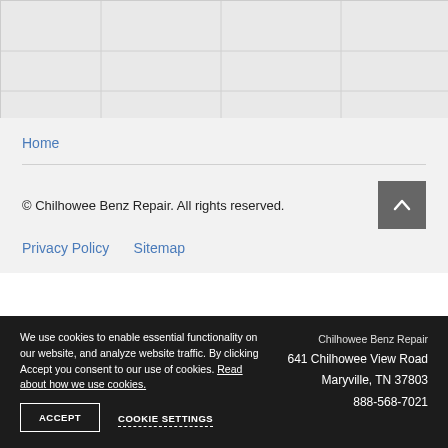[Figure (map): Gray map background area]
Home
© Chilhowee Benz Repair. All rights reserved.
Privacy Policy   Sitemap
We use cookies to enable essential functionality on our website, and analyze website traffic. By clicking Accept you consent to our use of cookies. Read about how we use cookies.
ACCEPT    COOKIE SETTINGS
Chilhowee Benz Repair
641 Chilhowee View Road
Maryville, TN 37803
888-568-7021